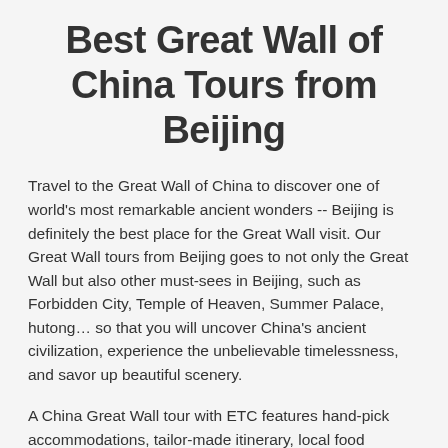Best Great Wall of China Tours from Beijing
Travel to the Great Wall of China to discover one of world's most remarkable ancient wonders -- Beijing is definitely the best place for the Great Wall visit. Our Great Wall tours from Beijing goes to not only the Great Wall but also other must-sees in Beijing, such as Forbidden City, Temple of Heaven, Summer Palace, hutong… so that you will uncover China's ancient civilization, experience the unbelievable timelessness, and savor up beautiful scenery.
A China Great Wall tour with ETC features hand-pick accommodations, tailor-made itinerary, local food...